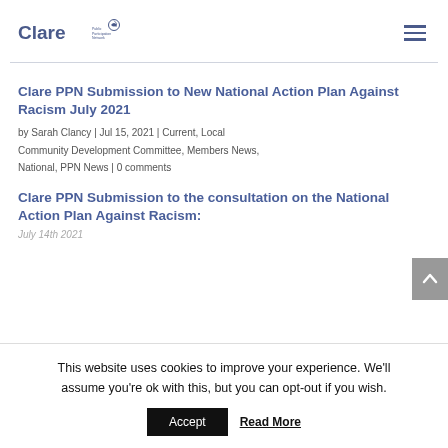Clare Public Participation Network
Clare PPN Submission to New National Action Plan Against Racism July 2021
by Sarah Clancy | Jul 15, 2021 | Current, Local Community Development Committee, Members News, National, PPN News | 0 comments
Clare PPN Submission to the consultation on the National Action Plan Against Racism:
July 14th 2021
This website uses cookies to improve your experience. We'll assume you're ok with this, but you can opt-out if you wish. Accept Read More